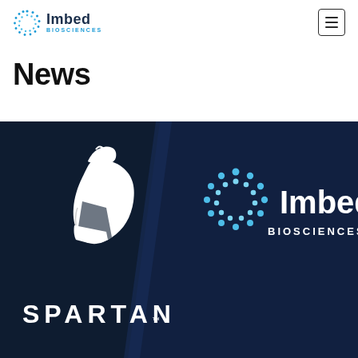Imbed Biosciences
News
[Figure (illustration): Promotional banner image with dark navy background showing two company logos side by side: Spartan (white Spartan helmet logo and SPARTAN text) on the left dark section, and Imbed Biosciences (blue dotted circle logo and white BIOSCIENCES text) on the right darker navy section with a diagonal divider.]